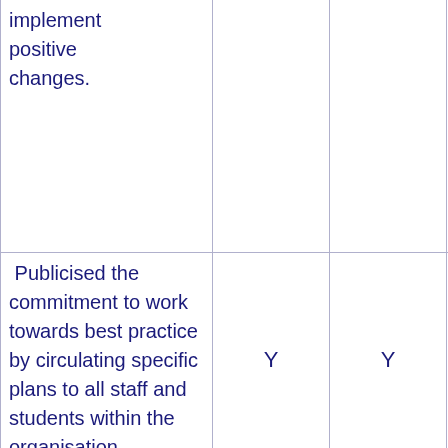implement positive changes.
Publicised the commitment to work towards best practice by circulating specific plans to all staff and students within the organisation.
Demonstrated